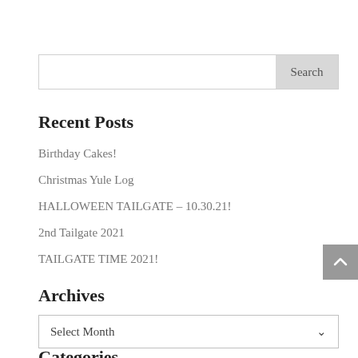Search
Recent Posts
Birthday Cakes!
Christmas Yule Log
HALLOWEEN TAILGATE – 10.30.21!
2nd Tailgate 2021
TAILGATE TIME 2021!
Archives
Select Month
Categories